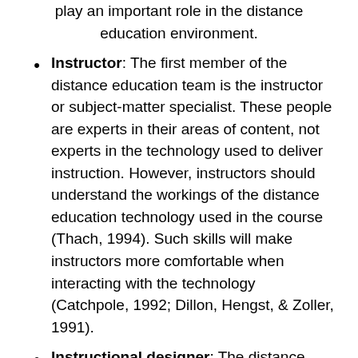play an important role in the distance education environment.
Instructor: The first member of the distance education team is the instructor or subject-matter specialist. These people are experts in their areas of content, not experts in the technology used to deliver instruction. However, instructors should understand the workings of the distance education technology used in the course (Thach, 1994). Such skills will make instructors more comfortable when interacting with the technology (Catchpole, 1992; Dillon, Hengst, & Zoller, 1991).
Instructional designer: The distance education instructional designer must be knowledgeable of the resources available in a particular